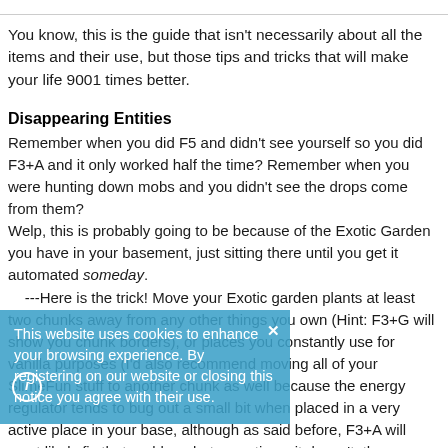You know, this is the guide that isn't necessarily about all the items and their use, but those tips and tricks that will make your life 9001 times better.
Disappearing Entities
Remember when you did F5 and didn't see yourself so you did F3+A and it only worked half the time? Remember when you were hunting down mobs and you didn't see the drops come from them?
Welp, this is probably going to be because of the Exotic Garden you have in your basement, just sitting there until you get it automated someday.
    ---Here is the trick! Move your Exotic garden plants at least two chunks away from any other things you own (Hint: F3+G will show you chunk borders), or places you constantly use for vanilla purposes (I'd also recommend moving all of your SlimeFun stuff to another chunk as well because the energy regulator tends to bug out a small bit when placed in a very active place in your base, although as said before, F3+A will most likely fix that problem, but sometimes it doesn't, then you have to re-log or just be lazy and deal with it :P) I'd recommend keeping them all in one chunk. In this chunk only
This website uses cookies to enhance your browsing experience. By registering on our website or closing this notice you agree with their use.